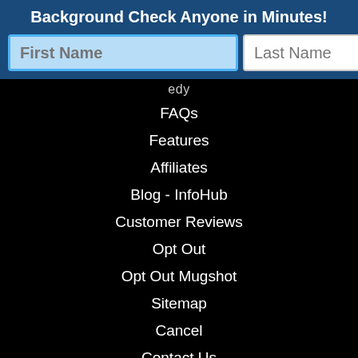Background Check Anyone in Minutes!
FAQs
Features
Affiliates
Blog - InfoHub
Customer Reviews
Opt Out
Opt Out Mugshot
Sitemap
Cancel
Contact Us
CCPA
Scholarship